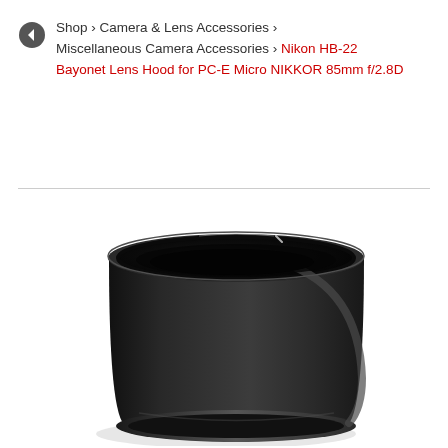Shop › Camera & Lens Accessories › Miscellaneous Camera Accessories › Nikon HB-22 Bayonet Lens Hood for PC-E Micro NIKKOR 85mm f/2.8D
[Figure (photo): A black cylindrical Nikon HB-22 Bayonet Lens Hood photographed from a 3/4 front angle showing the circular opening and smooth matte black exterior finish.]